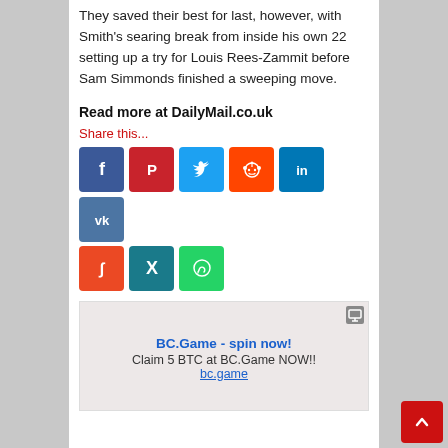They saved their best for last, however, with Smith's searing break from inside his own 22 setting up a try for Louis Rees-Zammit before Sam Simmonds finished a sweeping move.
Read more at DailyMail.co.uk
Share this...
[Figure (infographic): Row of social media sharing icons: Facebook (blue), Pinterest (red), Twitter (light blue), Reddit (orange), LinkedIn (dark blue), VK (slate blue); second row: StumbleUpon (orange-red), Xing (teal), WhatsApp (green)]
[Figure (infographic): Advertisement box with pink/beige background. Title: BC.Game - spin now! Subtitle: Claim 5 BTC at BC.Game NOW!! Link: bc.game]